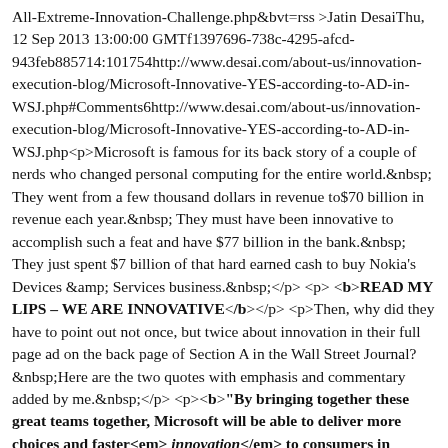All-Extreme-Innovation-Challenge.php&bvt=rss >Jatin DesaiThu, 12 Sep 2013 13:00:00 GMTf1397696-738c-4295-afcd-943feb885714:101754http://www.desai.com/about-us/innovation-execution-blog/Microsoft-Innovative-YES-according-to-AD-in-WSJ.php#Comments6http://www.desai.com/about-us/innovation-execution-blog/Microsoft-Innovative-YES-according-to-AD-in-WSJ.php<p>Microsoft is famous for its back story of a couple of nerds who changed personal computing for the entire world.&nbsp; They went from a few thousand dollars in revenue to$70 billion in revenue each year.&nbsp; They must have been innovative to accomplish such a feat and have $77 billion in the bank.&nbsp; They just spent $7 billion of that hard earned cash to buy Nokia's Devices &amp; Services business.&nbsp;</p> <p><b>READ MY LIPS – WE ARE INNOVATIVE</b></p> <p>Then, why did they have to point out not once, but twice about innovation in their full page ad on the back page of Section A in the Wall Street Journal? &nbsp;Here are the two quotes with emphasis and commentary added by me.&nbsp;</p> <p><b>"By bringing together these great teams together, Microsoft will be able to deliver more choices and faster<em> innovation</em> to consumers in phones and smart devices of all kinds"</b>&nbsp; </p> <p>I thought a couple of years ago that Microsoft gave billions of dollars to Nokia and its CEO Stephen Elop (a former Microsoft executive)&nbsp;to accomplish the task already.&nbsp; Microsoft and Nokia were already joined at the hip as partners when Nokia to run its own operating system in favor of...